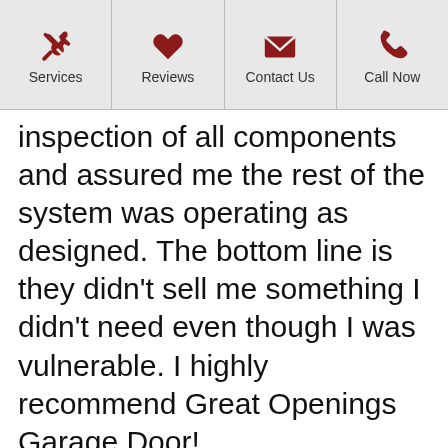Services | Reviews | Contact Us | Call Now
inspection of all components and assured me the rest of the system was operating as designed. The bottom line is they didn't sell me something I didn't need even though I was vulnerable. I highly recommend Great Openings Garage Door!